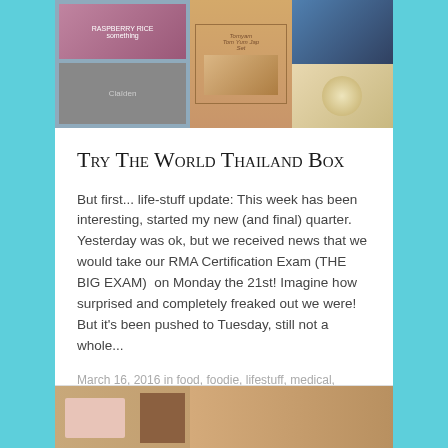[Figure (photo): Photo collage showing subscription box items including cosmetics, food items, and books against a light background]
Try The World Thailand Box
But first... life-stuff update: This week has been interesting, started my new (and final) quarter. Yesterday was ok, but we received news that we would take our RMA Certification Exam (THE BIG EXAM)  on Monday the 21st! Imagine how surprised and completely freaked out we were! But it's been pushed to Tuesday, still not a whole...
March 16, 2016 in food, foodie, lifestuff, medical, recipes, subscription boxes.
[Figure (photo): Bottom portion of another blog post showing a tan/brown colored subscription box]